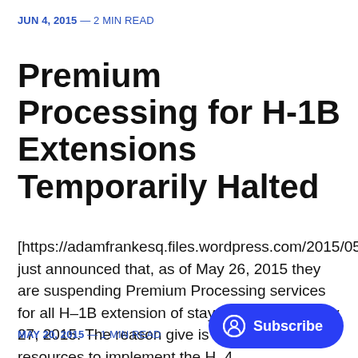JUN 4, 2015 — 2 MIN READ
Premium Processing for H-1B Extensions Temporarily Halted
[https://adamfrankesq.files.wordpress.com/2015/05/i just announced that, as of May 26, 2015 they are suspending Premium Processing services for all H–1B extension of stay petitions until July 27, 2015. The reason give is that they need the resources to implement the H–4
MAY 20, 2015 — 1 MIN READ